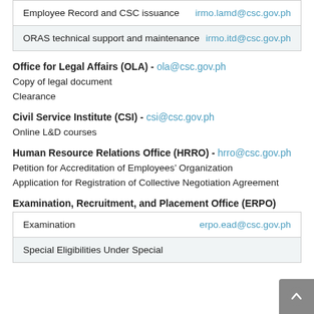| Service | Email |
| --- | --- |
| Employee Record and CSC issuance | irmo.lamd@csc.gov.ph |
| ORAS technical support and maintenance | irmo.itd@csc.gov.ph |
Office for Legal Affairs (OLA) - ola@csc.gov.ph
Copy of legal document
Clearance
Civil Service Institute (CSI) - csi@csc.gov.ph
Online L&D courses
Human Resource Relations Office (HRRO) - hrro@csc.gov.ph
Petition for Accreditation of Employees' Organization
Application for Registration of Collective Negotiation Agreement
Examination, Recruitment, and Placement Office (ERPO)
| Service | Email |
| --- | --- |
| Examination | erpo.ead@csc.gov.ph |
| Special Eligibilities Under Special |  |